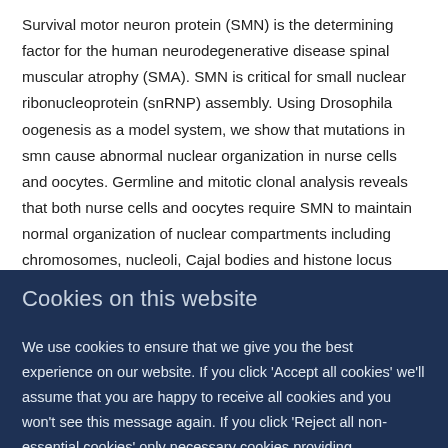Survival motor neuron protein (SMN) is the determining factor for the human neurodegenerative disease spinal muscular atrophy (SMA). SMN is critical for small nuclear ribonucleoprotein (snRNP) assembly. Using Drosophila oogenesis as a model system, we show that mutations in smn cause abnormal nuclear organization in nurse cells and oocytes. Germline and mitotic clonal analysis reveals that both nurse cells and oocytes require SMN to maintain normal organization of nuclear compartments including chromosomes, nucleoli, Cajal bodies and histone locus bodies. We previously found that SMN-containing U bodies invariably associate with P bodies (Liu, J. L., and Gall, J. G.
Cookies on this website
We use cookies to ensure that we give you the best experience on our website. If you click 'Accept all cookies' we'll assume that you are happy to receive all cookies and you won't see this message again. If you click 'Reject all non-essential cookies' only necessary cookies providing